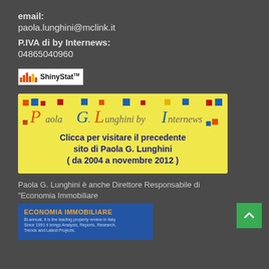email:
paola.lunghini@mclink.it
P.IVA di by Internews:
04865040960
[Figure (logo): ShinyStatTM logo badge with colored bar chart icon]
[Figure (illustration): Banner: Paola G. Lunghini by Internews - Clicca per visitare il precedente sito di Paola G. Lunghini ( da 2004 a novembre 2012 )]
Paola G. Lunghini è anche Direttore Responsabile di "Economia Immobiliare
[Figure (logo): Economia Immobiliare - Bi-annual, it is the leading property review in Italy. Since 1991 it brings Analysis, Reports, Research, Trends and Latest Projects.]